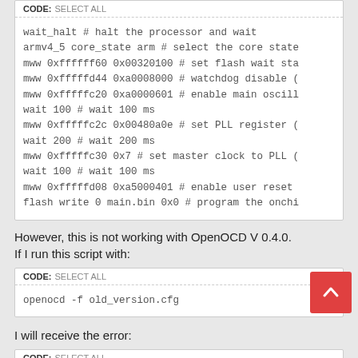CODE: SELECT ALL
wait_halt # halt the processor and wait
armv4_5 core_state arm # select the core state
mww 0xffffff60 0x00320100 # set flash wait sta
mww 0xfffffd44 0xa0008000 # watchdog disable (
mww 0xfffffc20 0xa0000601 # enable main oscill
wait 100 # wait 100 ms
mww 0xfffffc2c 0x00480a0e # set PLL register (
wait 200 # wait 200 ms
mww 0xfffffc30 0x7 # set master clock to PLL (
wait 100 # wait 100 ms
mww 0xfffffd08 0xa5000401 # enable user reset
flash write 0 main.bin 0x0 # program the onchi
However, this is not working with OpenOCD V 0.4.0.
If I run this script with:
CODE: SELECT ALL
openocd -f old_version.cfg
I will receive the error:
CODE: SELECT ALL